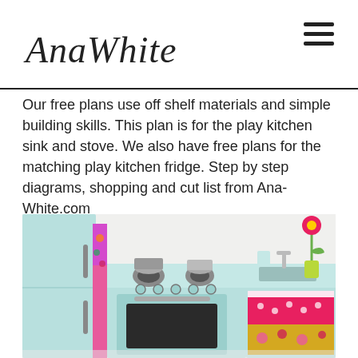AnaWhite
Our free plans use off shelf materials and simple building skills.  This plan is for the play kitchen sink and stove.  We also have free plans for the matching play kitchen fridge.  Step by step diagrams, shopping and cut list from Ana-White.com
[Figure (photo): Photo of a light blue/mint colored play kitchen set for children, showing a stove with oven, burners with small pots, and a sink section with colorful floral fabric curtains and a decorative flower vase. A refrigerator is visible on the left side.]